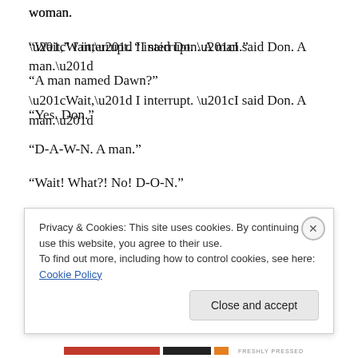woman.
“Wait,” I interrupt. “I said Don. A man.”
“A man named Dawn?”
“Yes. Don.”
“D-A-W-N. A man.”
“Wait! What?! No! D-O-N.”
“Ohhhh,” my conversation partner says. “You say Don just like Dawn.”
Privacy & Cookies: This site uses cookies. By continuing to use this website, you agree to their use.
To find out more, including how to control cookies, see here: Cookie Policy
Close and accept